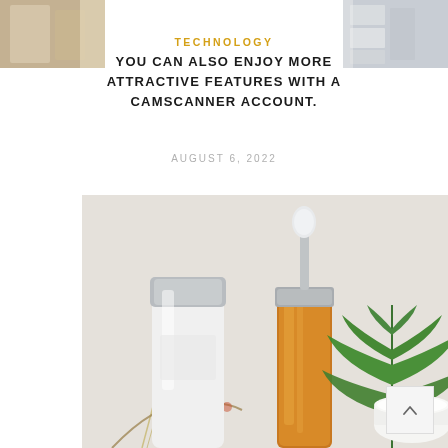[Figure (photo): Partial top strip showing two product/lifestyle images at upper left and upper right corners]
TECHNOLOGY
YOU CAN ALSO ENJOY MORE ATTRACTIVE FEATURES WITH A CAMSCANNER ACCOUNT.
AUGUST 6, 2022
[Figure (photo): Skincare/beauty product flat lay on grey background: a white cylindrical bottle with silver cap, an amber glass dropper bottle with silver collar, dried wheat stalks, green cannabis/hemp leaves, and an open white cream jar with flowers, all arranged on a light grey surface.]